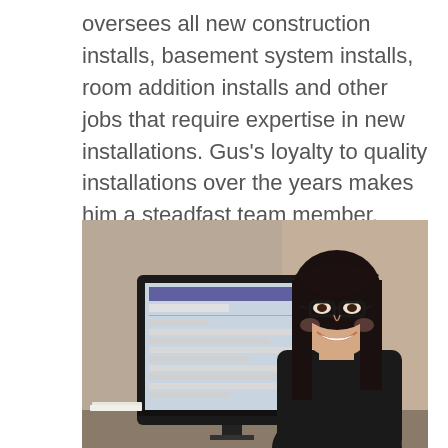oversees all new construction installs, basement system installs, room addition installs and other jobs that require expertise in new installations. Gus's loyalty to quality installations over the years makes him a steadfast team member.
[Figure (photo): A woman with dark hair and glasses sitting at a desk with a computer monitor, smiling at the camera in an office setting.]